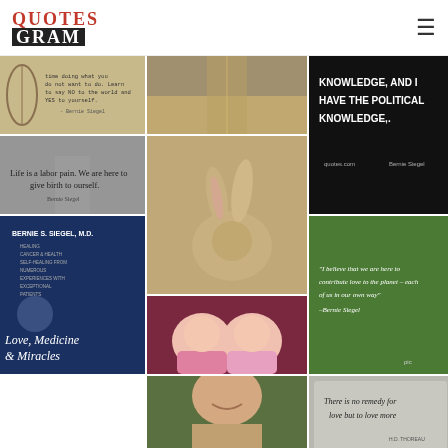QUOTESGRAM
[Figure (photo): Quote image with text about spending time doing what you do not want to do, learn to say NO to the world and YES to yourself. - Bernie Siegel]
[Figure (photo): Overhead photo of a road/path]
[Figure (photo): Dark background with white bold text: KNOWLEDGE, AND I HAVE THE POLITICAL KNOWLEDGE.. with Bernie Siegel attribution]
[Figure (photo): Sepia-toned road with text: Life is a labor pain. We are here to give birth to ourself. Bernie Siegel]
[Figure (photo): Photo of a rabbit/bunny close-up]
[Figure (photo): Green background quote: I believe that we are here to contribute love to this planet - each of us in our own way. -Bernie Siegel]
[Figure (photo): Book cover: Bernie S. Siegel M.D. - Love, Medicine & Miracles]
[Figure (photo): Photo of two babies in pink outfits kissing/touching]
[Figure (photo): Gray stone/paper with handwritten text: There is no remedy for love but to love more]
[Figure (photo): Photo of a bald smiling man (Bernie Siegel) outdoors]
[Figure (photo): Partial photo of a man (Bernie Siegel) indoors]